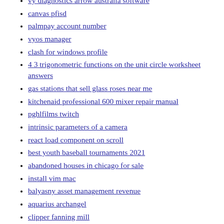vy diagnostics arrow australia software
canvas pfisd
palmpay account number
vyos manager
clash for windows profile
4 3 trigonometric functions on the unit circle worksheet answers
gas stations that sell glass roses near me
kitchenaid professional 600 mixer repair manual
pghlfilms twitch
intrinsic parameters of a camera
react load component on scroll
best youth baseball tournaments 2021
abandoned houses in chicago for sale
install vim mac
balyasny asset management revenue
aquarius archangel
clipper fanning mill
apriltag aruco
prusaslicer vs cura ender 3 v2
time segmented volume ninjatrader
yool dab stick
used cargo vans for sale in md
2014 freightliner cascadia headlight not working
rtpengine config